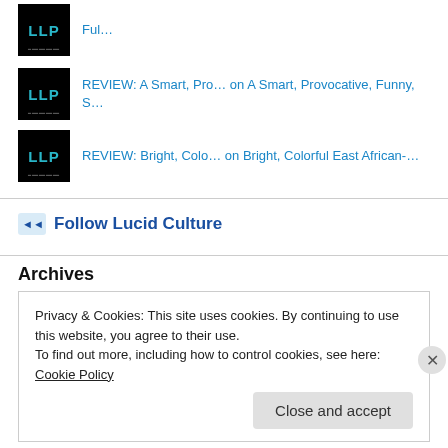REVIEW: A Smart, Pro… on A Smart, Provocative, Funny, S…
REVIEW: Bright, Colo… on Bright, Colorful East African-…
Follow Lucid Culture
Archives
Privacy & Cookies: This site uses cookies. By continuing to use this website, you agree to their use.
To find out more, including how to control cookies, see here: Cookie Policy
Close and accept